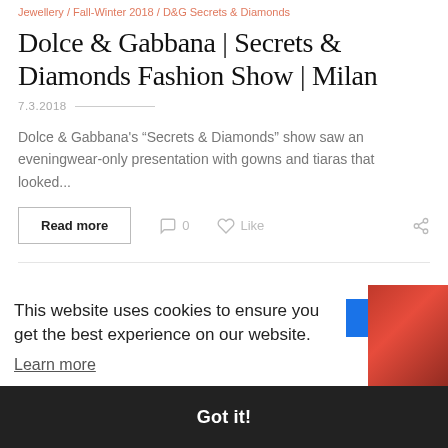Jewellery / Fall-Winter 2018 / D&G Secrets & Diamonds
Dolce & Gabbana | Secrets & Diamonds Fashion Show | Milan
7.3.2018
Dolce & Gabbana's “Secrets & Diamonds” show saw an eveningwear-only presentation with gowns and tiaras that looked...
Read more   0   Like
This website uses cookies to ensure you get the best experience on our website.
Learn more
Got it!